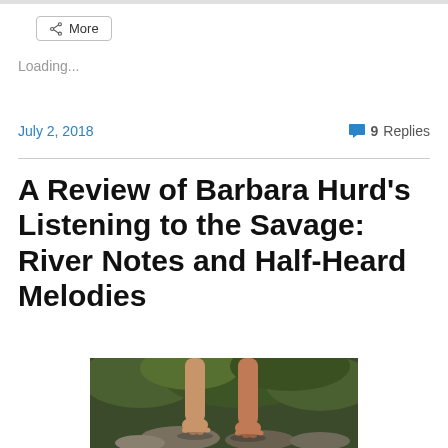More
Loading...
July 2, 2018
9 Replies
A Review of Barbara Hurd's Listening to the Savage: River Notes and Half-Heard Melodies
[Figure (photo): Bare feet of a child standing on rocks near water, with green foliage in the background]